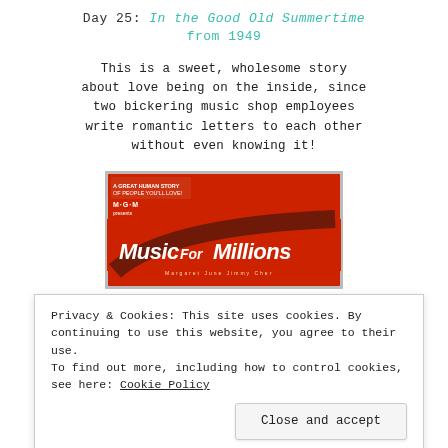Day 25: In the Good Old Summertime from 1949
This is a sweet, wholesome story about love being on the inside, since two bickering music shop employees write romantic letters to each other without even knowing it!
[Figure (photo): Movie poster for 'Music For Millions' with red background and stylized text, framed image of MGM film]
Privacy & Cookies: This site uses cookies. By continuing to use this website, you agree to their use. To find out more, including how to control cookies, see here: Cookie Policy
Close and accept